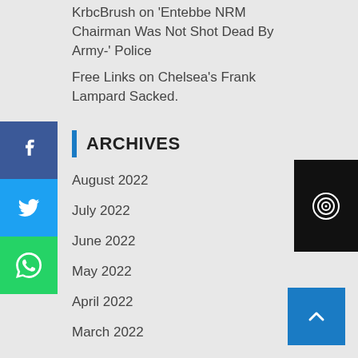KrbcBrush on 'Entebbe NRM Chairman Was Not Shot Dead By Army-' Police
Free Links on Chelsea's Frank Lampard Sacked.
ARCHIVES
August 2022
July 2022
June 2022
May 2022
April 2022
March 2022
February 2022
January 2022